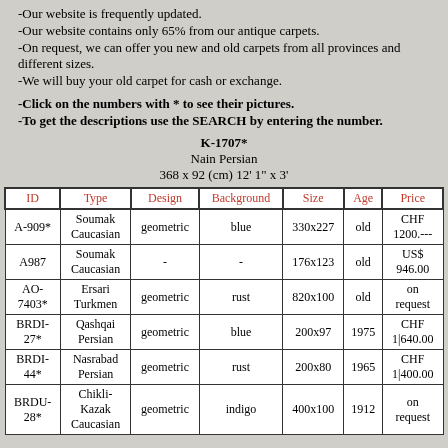-Our website is frequently updated.
-Our website contains only 65% from our antique carpets.
-On request, we can offer you new and old carpets from all provinces and different sizes.
-We will buy your old carpet for cash or exchange.
-Click on the numbers with * to see their pictures.
-To get the descriptions use the SEARCH by entering the number.
K-1707*
Nain Persian
368 x 92 (cm) 12' 1" x 3'
| ID | Type | Design | Background | Size | Age | Price |
| --- | --- | --- | --- | --- | --- | --- |
| A-909* | Soumak Caucasian | geometric | blue | 330x227 | old | CHF 1200.--- |
| A987 | Soumak Caucasian | - | - | 176x123 | old | US$ 946.00 |
| AO-7403* | Ersari Turkmen | geometric | rust | 820x100 | old | on request |
| BRDI-27* | Qashqai Persian | geometric | blue | 200x97 | 1975 | CHF 1|640.00 |
| BRDI-44* | Nasrabad Persian | geometric | rust | 200x80 | 1965 | CHF 1|400.00 |
| BRDU-28* | Chikli-Kazak Caucasian | geometric | indigo | 400x100 | 1912 | on request |